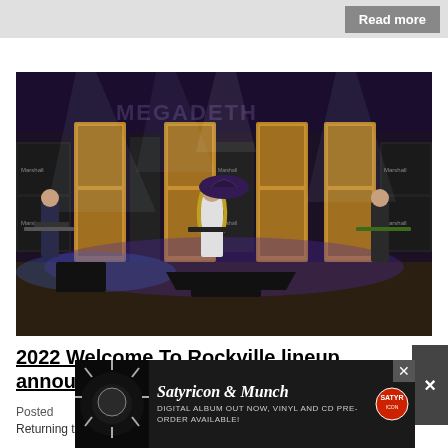Read more
[Figure (photo): Megadeth concert on stage with gold backdrop panels, Marshall amp stacks, dramatic lighting with spotlights. Multiple band members playing guitars on stage with MEGADETH logo visible in background.]
2022 Welcome To Rockville lineup announced
Posted
Returning to its originally scheduled month in November,
[Figure (photo): Satyricon & Munch advertisement banner. Dark background with starburst graphic on left side. Text: 'Satyricon & Munch - DIGITAL ALBUM OUT NOW, VINYL AND CD PRE-ORDER AVAILABLE!' with logo on right.]